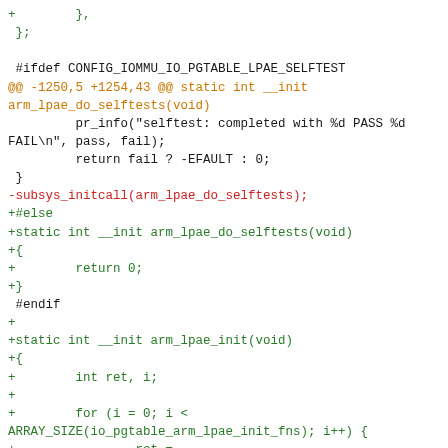Code diff showing kernel ARM LPAE IOMMU patch with additions of arm_lpae_init function and conditional selftest stubs.